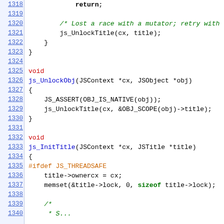[Figure (screenshot): Source code listing showing C/C++ code lines 1318-1339, with line numbers in blue on the left and syntax-highlighted code on the right. Code includes functions js_UnlockObj and js_InitTitle with keywords, identifiers, and comments highlighted in various colors.]